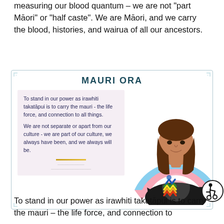measuring our blood quantum – we are not "part Māori" or "half caste". We are Māori, and we carry the blood, histories, and wairua of all our ancestors.
[Figure (illustration): Mauri Ora card featuring an illustrated person of Māori descent with arms crossed, wearing a black t-shirt with a rainbow koru design, standing in front of a trans pride flag rainbow arc background. A pink text box on the left contains text about standing in power as irawhiti takatāpui.]
To stand in our power as irawhiti takatāpui is to carry the mauri – the life force, and connection to